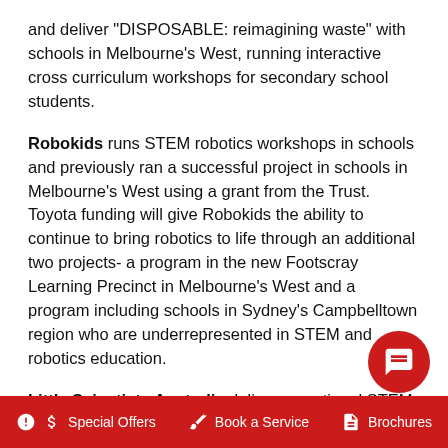and deliver "DISPOSABLE: reimagining waste" with schools in Melbourne's West, running interactive cross curriculum workshops for secondary school students.
Robokids runs STEM robotics workshops in schools and previously ran a successful project in schools in Melbourne's West using a grant from the Trust. Toyota funding will give Robokids the ability to continue to bring robotics to life through an additional two projects- a program in the new Footscray Learning Precinct in Melbourne's West and a program including schools in Sydney's Campbelltown region who are underrepresented in STEM and robotics education.
Little Scientists Australia delivers a national STEM professional development program for early childhood educators and teachers working with children age...
Special Offers   Book a Service   Brochures